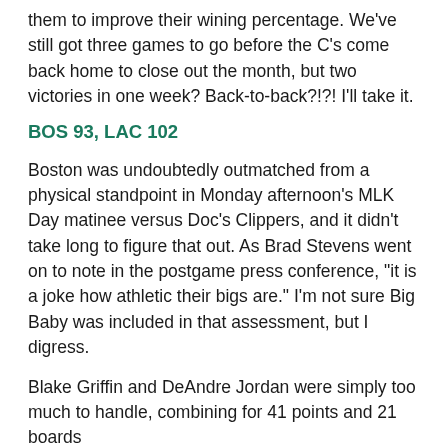them to improve their wining percentage. We've still got three games to go before the C's come back home to close out the month, but two victories in one week? Back-to-back?!?! I'll take it.
BOS 93, LAC 102
Boston was undoubtedly outmatched from a physical standpoint in Monday afternoon's MLK Day matinee versus Doc's Clippers, and it didn't take long to figure that out. As Brad Stevens went on to note in the postgame press conference, "it is a joke how athletic their bigs are." I'm not sure Big Baby was included in that assessment, but I digress.
Blake Griffin and DeAndre Jordan were simply too much to handle, combining for 41 points and 21 boards